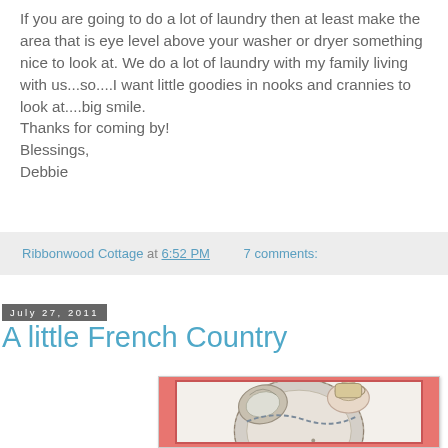If you are going to do a lot of laundry then at least make the area that is eye level above your washer or dryer something nice to look at. We do a lot of laundry with my family living with us...so....I want little goodies in nooks and crannies to look at....big smile.
Thanks for coming by!
Blessings,
Debbie
Ribbonwood Cottage at 6:52 PM    7 comments:
July 27, 2011
A little French Country
[Figure (photo): Photo of French country tea/dinnerware — oyster shells, a teacup with saucer, and decorated plates arranged on a pink/salmon bordered background]